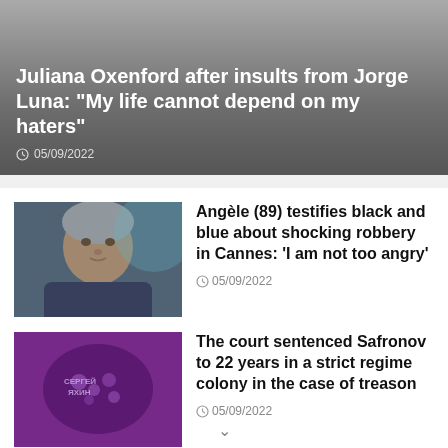Juliana Oxenford after insults from Jorge Luna: "My life cannot depend on my haters"
05/09/2022
[Figure (photo): Thumbnail photo of elderly woman, likely Angèle, with blurred background]
Angèle (89) testifies black and blue about shocking robbery in Cannes: 'I am not too angry'
05/09/2022
[Figure (photo): Purple/violet thumbnail image with text overlay, related to Safronov treason case]
The court sentenced Safronov to 22 years in a strict regime colony in the case of treason
05/09/2022